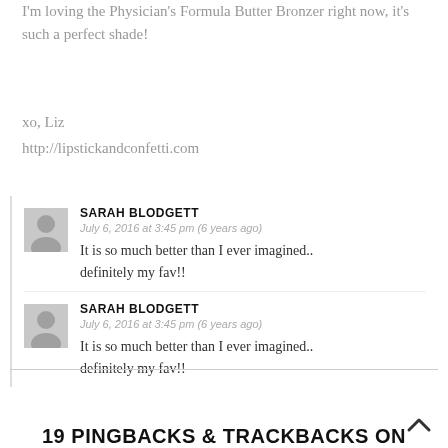I'm loving the Physician's Formula Butter Bronzer right now, it's such a perfect shade!
xo, Liz
http://lipstickandconfetti.com
SARAH BLODGETT
July 6, 2016 at 3:45 pm (6 years ago)
It is so much better than I ever imagined.. definitely my fav!!
SARAH BLODGETT
July 6, 2016 at 3:45 pm (6 years ago)
It is so much better than I ever imagined.. definitely my fav!!
19 PINGBACKS & TRACKBACKS ON